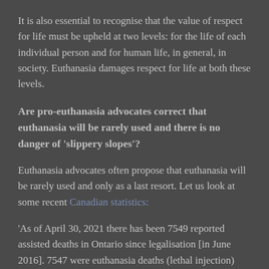It is also essential to recognise that the value of respect for life must be upheld at two levels: for the life of each individual person and for human life, in general, in society. Euthanasia damages respect for life at both these levels.
Are pro-euthanasia advocates correct that euthanasia will be rarely used and there is no danger of 'slippery slopes'?
Euthanasia advocates often propose that euthanasia will be rarely used and only as a last resort. Let us look at some recent Canadian statistics:
'As of April 30, 2021 there has been 7549 reported assisted deaths in Ontario since legalisation [in June 2016]. 7547 were euthanasia deaths (lethal injection)